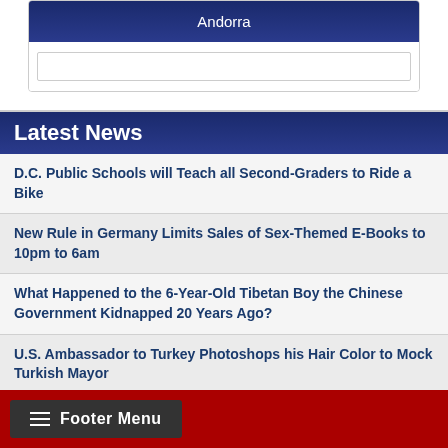[Figure (screenshot): Widget with dark blue gradient header showing 'Andorra' text and a white input field below]
Latest News
D.C. Public Schools will Teach all Second-Graders to Ride a Bike
New Rule in Germany Limits Sales of Sex-Themed E-Books to 10pm to 6am
What Happened to the 6-Year-Old Tibetan Boy the Chinese Government Kidnapped 20 Years Ago?
U.S. Ambassador to Turkey Photoshops his Hair Color to Mock Turkish Mayor
Mystery Artist Calls Attention to Unfixed Potholes by Drawing Penises around Them
Footer Menu